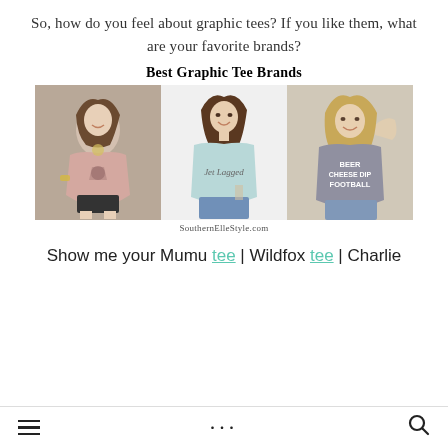So, how do you feel about graphic tees? If you like them, what are your favorite brands?
[Figure (photo): Collage titled 'Best Graphic Tee Brands' showing three women wearing graphic tees: left in a flowy pink boho tee, center in a light blue 'Jet Lagged' tee, right in a gray 'Beer Cheese Dip Football' tee. Watermark: SouthernElleStyle.com]
Show me your Mumu tee | Wildfox tee | Charlie